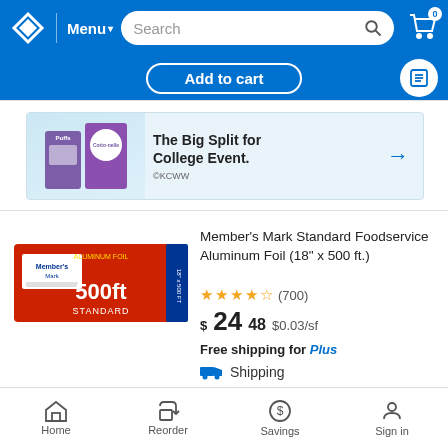Sam's Club navigation bar with logo, Menu, Search, and cart
Add to cart
[Figure (illustration): Advertisement banner: The Big Split for College Event. Shows Puffs and Cottonelle products on light blue background. Arrow pointing right. ©KCWW]
[Figure (photo): Member's Mark Standard Foodservice Aluminum Foil box, red and blue packaging, 500ft label]
Member's Mark Standard Foodservice Aluminum Foil (18" x 500 ft.)
★★★★☆ (700)
$24.48  $0.03/sf
Free shipping for Plus
Shipping
Pickup
Delivery  Check an address
Home  Reorder  Savings  Sign in